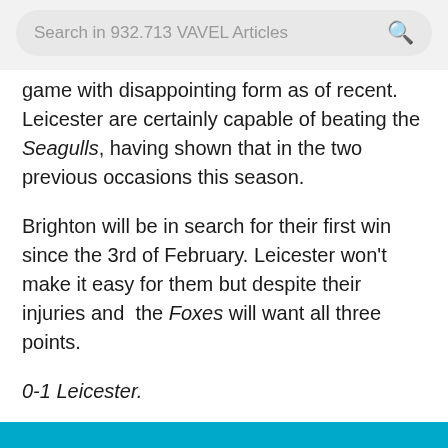Search in 932.713 VAVEL Articles
game with disappointing form as of recent. Leicester are certainly capable of beating the Seagulls, having shown that in the two previous occasions this season.
Brighton will be in search for their first win since the 3rd of February. Leicester won't make it easy for them but despite their injuries and the Foxes will want all three points.
0-1 Leicester.